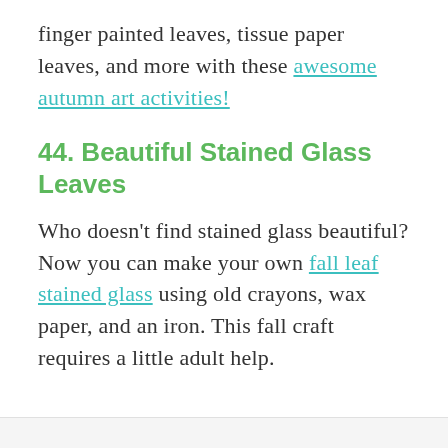finger painted leaves, tissue paper leaves, and more with these awesome autumn art activities!
44. Beautiful Stained Glass Leaves
Who doesn't find stained glass beautiful? Now you can make your own fall leaf stained glass using old crayons, wax paper, and an iron. This fall craft requires a little adult help.
[Figure (photo): Partial image at bottom of page (cropped)]